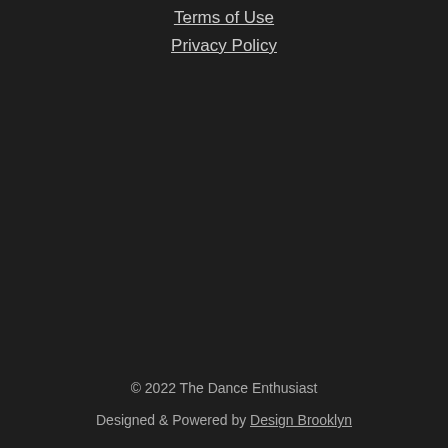Terms of Use
Privacy Policy
© 2022 The Dance Enthusiast
Designed & Powered by Design Brooklyn